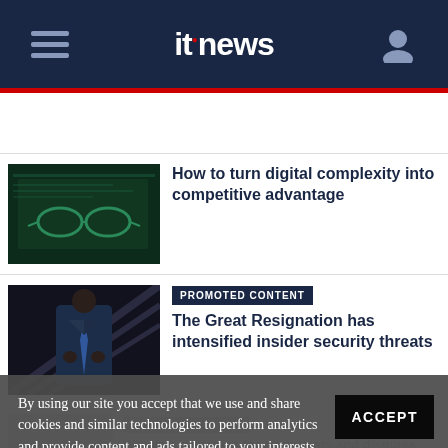itnews
[Figure (screenshot): Article thumbnail: glasses in front of digital screens with green lighting]
How to turn digital complexity into competitive advantage
[Figure (screenshot): Article thumbnail: businessman in suit on escalator]
PROMOTED CONTENT
The Great Resignation has intensified insider security threats
PROMOTED CONTENT
Winning strategies for complaints and disputes management in financial services
DIGITAL NATION
By using our site you accept that we use and share cookies and similar technologies to perform analytics and provide content and ads tailored to your interests. By continuing to use our site, you consent to this. Please see our Cookie Policy for more information.